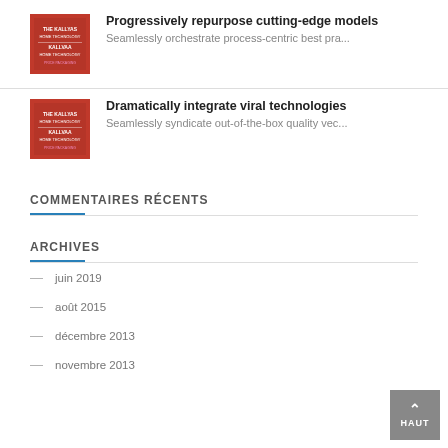[Figure (photo): Red KALLYAS product thumbnail image for first post]
Progressively repurpose cutting-edge models
Seamlessly orchestrate process-centric best pra...
[Figure (photo): Red KALLYAS product thumbnail image for second post]
Dramatically integrate viral technologies
Seamlessly syndicate out-of-the-box quality vec...
COMMENTAIRES RÉCENTS
ARCHIVES
juin 2019
août 2015
décembre 2013
novembre 2013